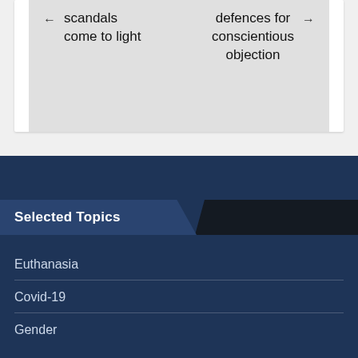← scandals come to light
defences for conscientious objection →
Selected Topics
Euthanasia
Covid-19
Gender